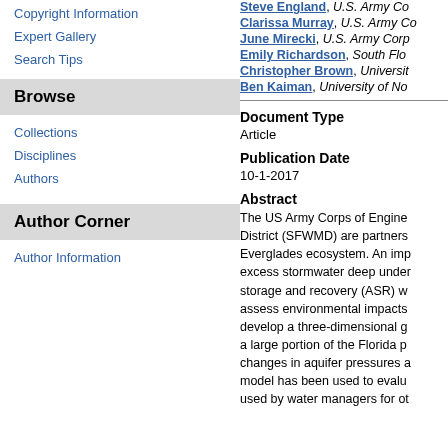Copyright Information
Expert Gallery
Search Tips
Browse
Collections
Disciplines
Authors
Author Corner
Author Information
Steve England, U.S. Army Co...
Clarissa Murray, U.S. Army Co...
June Mirecki, U.S. Army Corp...
Emily Richardson, South Flo...
Christopher Brown, Universit...
Ben Kaiman, University of No...
Document Type
Article
Publication Date
10-1-2017
Abstract
The US Army Corps of Engine... District (SFWMD) are partners... Everglades ecosystem. An imp... excess stormwater deep under... storage and recovery (ASR) w... assess environmental impacts... develop a three-dimensional g... a large portion of the Florida p... changes in aquifer pressures a... model has been used to evalu... used by water managers for ot...